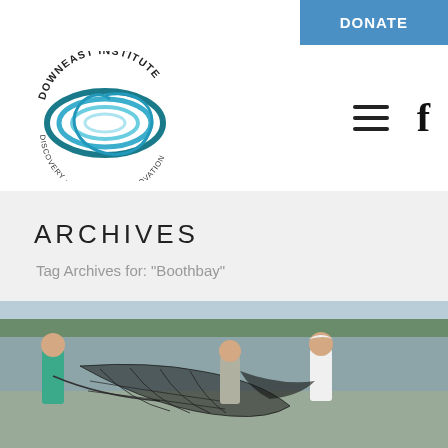DONATE
[Figure (logo): Downeast Institute logo with swirling blue wave graphic and text 'Discovery - Education - Innovation']
[Figure (other): Hamburger menu icon (three horizontal lines) and Facebook 'f' icon]
ARCHIVES
Tag Archives for: "Boothbay"
[Figure (photo): Three people working with a large fishing net on a mudflat/tidal area. One person in a green shirt on the left, one in a gray shirt in the middle, and one in a white shirt on the right holding up the net.]